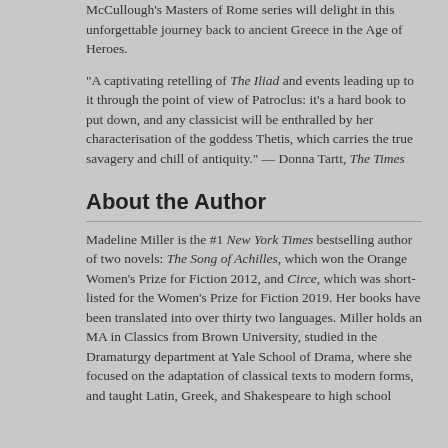McCullough's Masters of Rome series will delight in this unforgettable journey back to ancient Greece in the Age of Heroes.
"A captivating retelling of The Iliad and events leading up to it through the point of view of Patroclus: it's a hard book to put down, and any classicist will be enthralled by her characterisation of the goddess Thetis, which carries the true savagery and chill of antiquity." — Donna Tartt, The Times
About the Author
Madeline Miller is the #1 New York Times bestselling author of two novels: The Song of Achilles, which won the Orange Women's Prize for Fiction 2012, and Circe, which was short-listed for the Women's Prize for Fiction 2019. Her books have been translated into over thirty two languages. Miller holds an MA in Classics from Brown University, studied in the Dramaturgy department at Yale School of Drama, where she focused on the adaptation of classical texts to modern forms, and taught Latin, Greek, and Shakespeare to high school